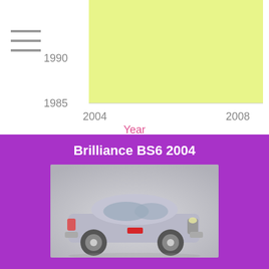[Figure (continuous-plot): Partial view of a scatter or line chart with yellow-green shaded area. Y-axis shows values 1985 and 1990, X-axis shows years 2004 and 2008. A menu icon (hamburger) is visible top-left. X-axis label reads 'Year' in pink/red.]
Brilliance BS6 2004
[Figure (photo): Photo of a silver Brilliance BS6 2004 sedan car on a light gray background.]